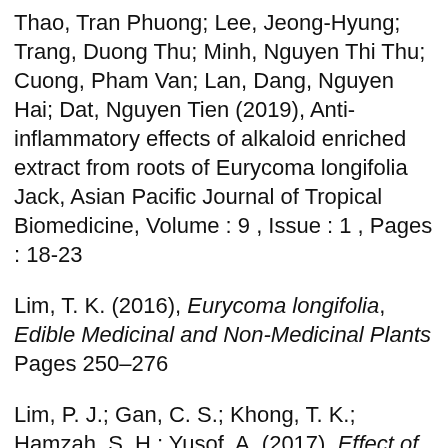Thao, Tran Phuong; Lee, Jeong-Hyung; Trang, Duong Thu; Minh, Nguyen Thi Thu; Cuong, Pham Van; Lan, Dang, Nguyen Hai; Dat, Nguyen Tien (2019), Anti-inflammatory effects of alkaloid enriched extract from roots of Eurycoma longifolia Jack, Asian Pacific Journal of Tropical Biomedicine, Volume : 9 , Issue : 1 , Pages : 18-23
Lim, T. K. (2016), Eurycoma longifolia, Edible Medicinal and Non-Medicinal Plants Pages 250–276
Lim, P. J.; Gan, C. S.; Khong, T. K.; Hamzah, S. H.; Yusof, A. (2017), Effect of Eurycoma longifolia Jack Extract...